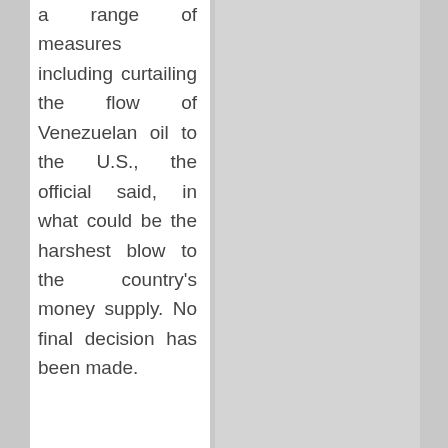a range of measures including curtailing the flow of Venezuelan oil to the U.S., the official said, in what could be the harshest blow to the country's money supply. No final decision has been made.